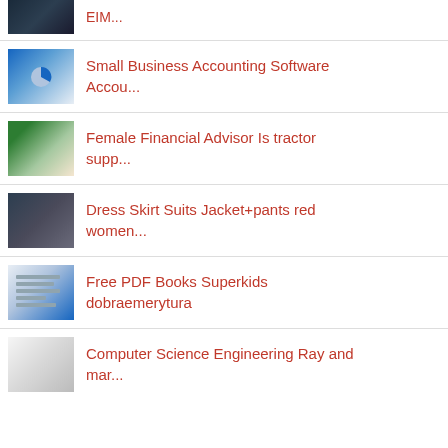Small Business Accounting Software Accou…
Female Financial Advisor Is tractor supp…
Dress Skirt Suits Jacket+pants red women…
Free PDF Books Superkids dobraemerytura
Computer Science Engineering Ray and mar…